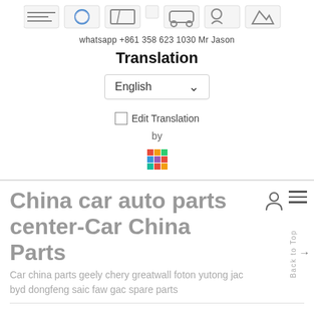[Figure (illustration): Row of small vehicle/service category icons at top of page]
whatsapp +861 358 623 1030 Mr Jason
Translation
[Figure (screenshot): English language dropdown selector with chevron]
Edit Translation (with checkbox)
by
[Figure (logo): Multicolor grid logo (Loco translation service)]
China car auto parts center-Car China Parts
Car china parts geely chery greatwall foton yutong jac byd dongfeng saic faw gac spare parts
Home / Products / Jac Refine-55 TCU OEM 1735101DT000